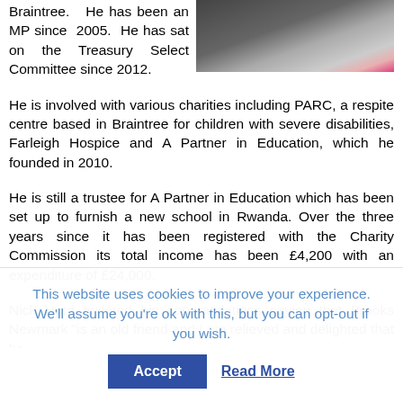Braintree.  He has been an MP since 2005. He has sat on the Treasury Select Committee since 2012.
[Figure (photo): Photo of a person wearing a dark jacket and a pink rosette badge, partially visible]
He is involved with various charities including PARC, a respite centre based in Braintree for children with severe disabilities, Farleigh Hospice and A Partner in Education, which he founded in 2010.
He is still a trustee for A Partner in Education which has been set up to furnish a new school in Rwanda. Over the three years since it has been registered with the Charity Commission its total income has been £4,200 with an expenditure of £24,000.
Nick Hurd tweeted his congratulations saying that Brooks Newmark "is an old friend and I am relieved and delighted that he
This website uses cookies to improve your experience. We'll assume you're ok with this, but you can opt-out if you wish.
Accept
Read More